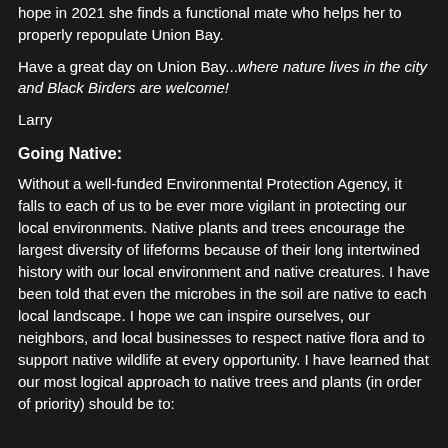hope in 2021 she finds a functional mate who helps her to properly repopulate Union Bay.
Have a great day on Union Bay...where nature lives in the city and Black Birders are welcome!
Larry
Going Native:
Without a well-funded Environmental Protection Agency, it falls to each of us to be ever more vigilant in protecting our local environments. Native plants and trees encourage the largest diversity of lifeforms because of their long intertwined history with our local environment and native creatures. I have been told that even the microbes in the soil are native to each local landscape. I hope we can inspire ourselves, our neighbors, and local businesses to respect native flora and to support native wildlife at every opportunity. I have learned that our most logical approach to native trees and plants (in order of priority) should be to: